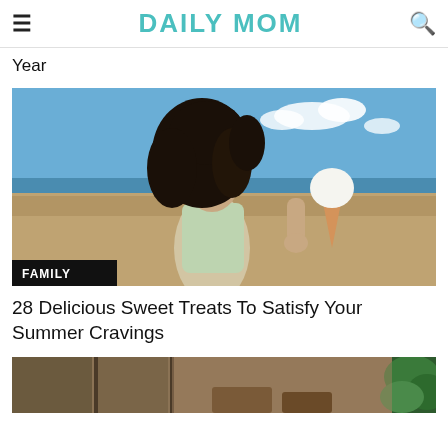DAILY MOM
Year
[Figure (photo): Woman at a beach holding an ice cream cone, eyes closed, smiling, with blue sky and sandy beach in background. FAMILY badge overlay at bottom left.]
28 Delicious Sweet Treats To Satisfy Your Summer Cravings
[Figure (photo): Partial view of a second article image at the bottom of the page, appears to show an outdoor/cafe setting with greenery.]